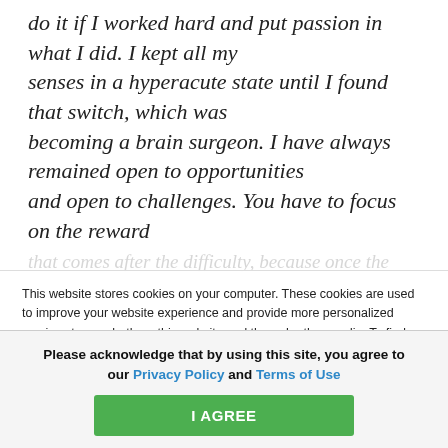do it if I worked hard and put passion in what I did. I kept all my senses in a hyperacute state until I found that switch, which was becoming a brain surgeon. I have always remained open to opportunities and open to challenges. You have to focus on the reward that comes after the difficulty, because once the
This website stores cookies on your computer. These cookies are used to improve your website experience and provide more personalized services to you, both on this website and through other media. To find out more about the cookies we use, see our Privacy Policy.
We won't track your information when you visit our site. But in order to comply with your
Please acknowledge that by using this site, you agree to our Privacy Policy and Terms of Use
I AGREE